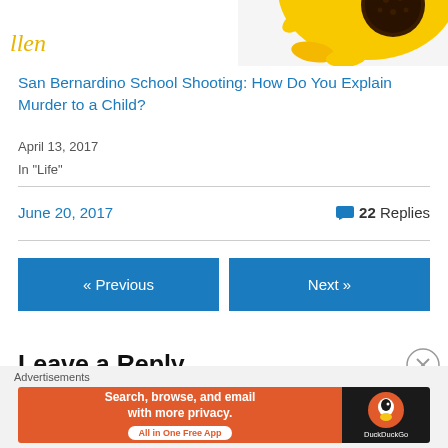[Figure (photo): Partial view of a sunflower with yellow petals and dark brown center in top right corner]
llen
San Bernardino School Shooting: How Do You Explain Murder to a Child?
April 13, 2017
In "Life"
June 20, 2017
22 Replies
« Previous
Next »
Leave a Reply
Advertisements
[Figure (screenshot): DuckDuckGo advertisement banner: orange section with text 'Search, browse, and email with more privacy. All in One Free App' and dark section with DuckDuckGo logo]